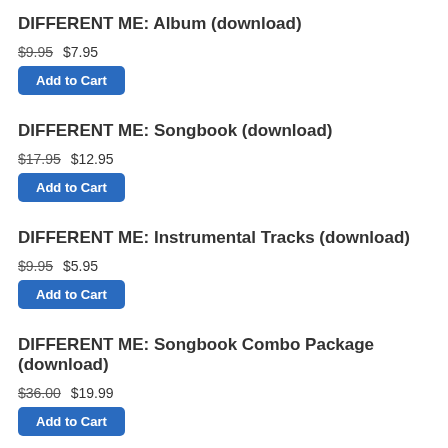DIFFERENT ME: Album (download)
$9.95  $7.95
Add to Cart
DIFFERENT ME: Songbook (download)
$17.95  $12.95
Add to Cart
DIFFERENT ME: Instrumental Tracks (download)
$9.95  $5.95
Add to Cart
DIFFERENT ME: Songbook Combo Package (download)
$36.00  $19.99
Add to Cart